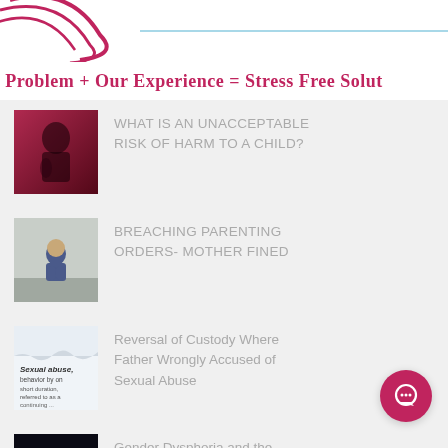Your Problem + Our Experience = Stress Free Solutions
WHAT IS AN UNACCEPTABLE RISK OF HARM TO A CHILD?
BREACHING PARENTING ORDERS- MOTHER FINED
Reversal of Custody Where Father Wrongly Accused of Sexual Abuse
Gender Dysphoria and the Family Court – a case study